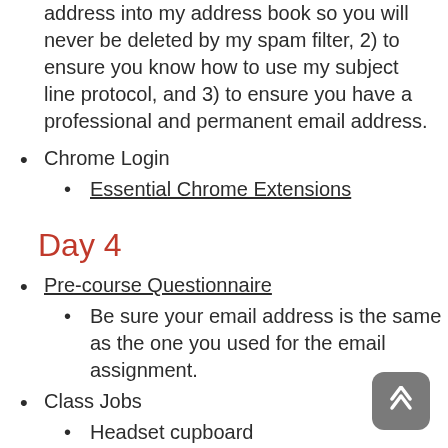address into my address book so you will never be deleted by my spam filter, 2) to ensure you know how to use my subject line protocol, and 3) to ensure you have a professional and permanent email address.
Chrome Login
Essential Chrome Extensions
Day 4
Pre-course Questionnaire
Be sure your email address is the same as the one you used for the email assignment.
Class Jobs
Headset cupboard
Push chairs in at end of class
Clean up your mess!